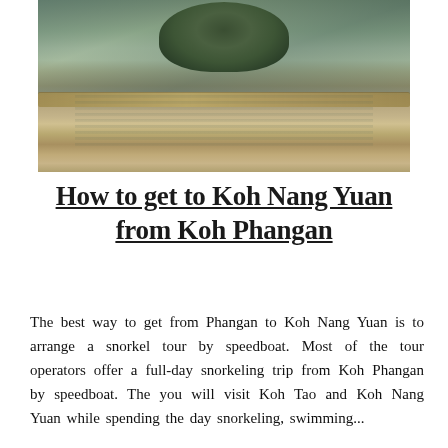[Figure (photo): Aerial or elevated view of Koh Nang Yuan island showing trees, sandy sandbar, and surrounding blue-green water with reflections]
How to get to Koh Nang Yuan from Koh Phangan
The best way to get from Phangan to Koh Nang Yuan is to arrange a snorkel tour by speedboat. Most of the tour operators offer a full-day snorkeling trip from Koh Phangan by speedboat. The you will visit Koh Tao and Koh Nang Yuan while spending the day snorkeling, swimming...